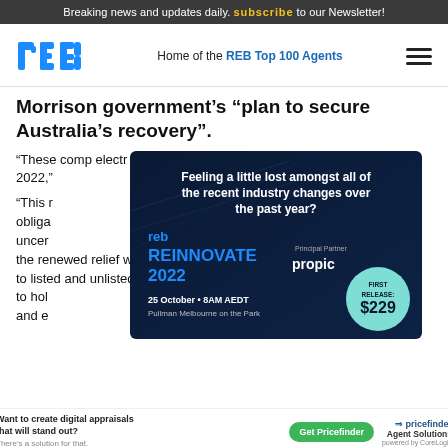Breaking news and updates daily. subscribe to our Newsletter!
[Figure (logo): REB logo - real estate business with blue 'r', 'e', 'b' letters]
Home of the REB Top 100 Agents
Morrison government's “plan to secure Australia’s recovery”.
“These comp electr mater 2022,”
[Figure (infographic): REB Reinnovate 2022 advertisement. Dark blue background with text: Feeling a little lost amongst all of the recent industry changes over the past year? REB REINNOVATE 2022, Principal Partner: propic. 25 October • 8AM AEDT, Pullman Melbourne on the Park. First Release: $229 badge.]
“This r their obliga uncer. In particular, the renewed relief will give much-needed certainty to listed and unlisted companies that are expected to hold ar and ec
[Figure (infographic): Pricefinder advertisement: Want to create digital appraisals that will stand out? There's a solution for that. Get Pricefinder. Agent Solutions powered by CoreLogic.]